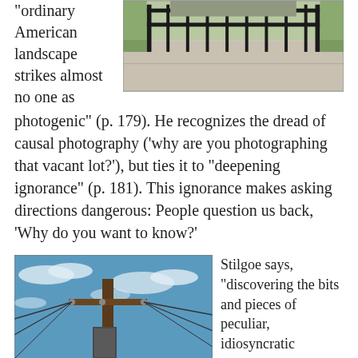“ordinary American landscape strikes almost no one as photogenic” (p. 179). He recognizes the dread of causal photography (‘why are you photographing that vacant lot?’), but ties it to “deepening ignorance” (p. 181). This ignorance makes asking directions dangerous: People question us back, ‘Why do you want to know?’
[Figure (photo): A black iron gate or fence along a concrete walkway with grass and buildings in the background.]
[Figure (photo): A wooden utility/telephone pole with power lines and a transformer against a blue sky with white clouds.]
Stilgoe says, “discovering the bits and pieces of peculiar, idiosyncratic importance in ordinary